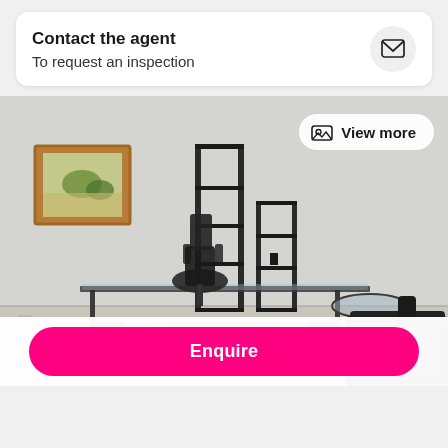Contact the agent
To request an inspection
[Figure (photo): Interior room photo showing glass desk, black office chair, metal shelving unit, framed painting on wall, and black leather sofa. Room has light grey walls and light flooring.]
View more
Enquire